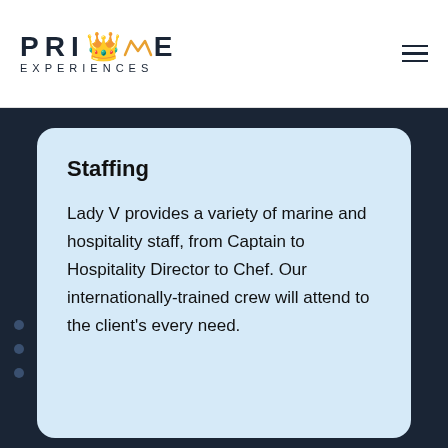PRIME EXPERIENCES
Staffing
Lady V provides a variety of marine and hospitality staff, from Captain to Hospitality Director to Chef. Our internationally-trained crew will attend to the client’s every need.